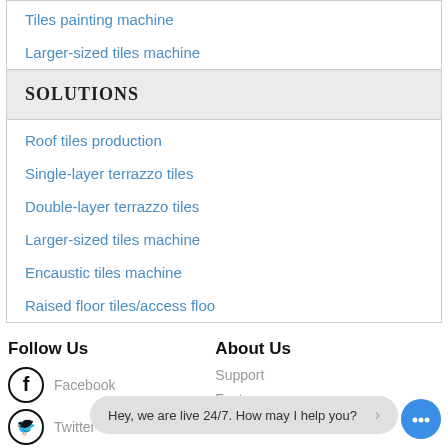Tiles painting machine
Larger-sized tiles machine
SOLUTIONS
Roof tiles production
Single-layer terrazzo tiles
Double-layer terrazzo tiles
Larger-sized tiles machine
Encaustic tiles machine
Raised floor tiles/access floo
Follow Us
Facebook
Twitter
About Us
Support
Factory
Hey, we are live 24/7. How may I help you?